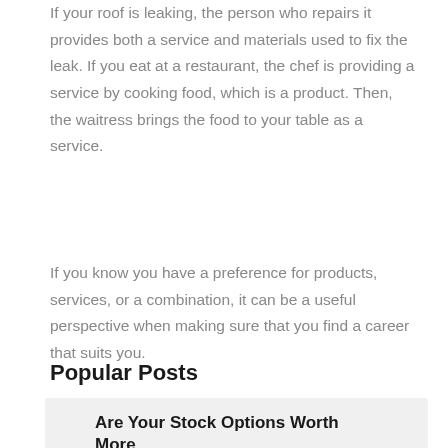If your roof is leaking, the person who repairs it provides both a service and materials used to fix the leak. If you eat at a restaurant, the chef is providing a service by cooking food, which is a product. Then, the waitress brings the food to your table as a service.
If you know you have a preference for products, services, or a combination, it can be a useful perspective when making sure that you find a career that suits you.
Popular Posts
Are Your Stock Options Worth More